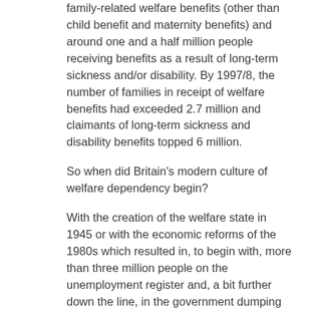family-related welfare benefits (other than child benefit and maternity benefits) and around one and a half million people receiving benefits as a result of long-term sickness and/or disability. By 1997/8, the number of families in receipt of welfare benefits had exceeded 2.7 million and claimants of long-term sickness and disability benefits topped 6 million.
So when did Britain's modern culture of welfare dependency begin?
With the creation of the welfare state in 1945 or with the economic reforms of the 1980s which resulted in, to begin with, more than three million people on the unemployment register and, a bit further down the line, in the government dumping people, en masse, on to sickness and disability related benefits in order to massage the headline unemployment figures.
The welfare state DOES NOT CREATE welfare dependency – not on its own.
To create welfare dependency you certainly do need a